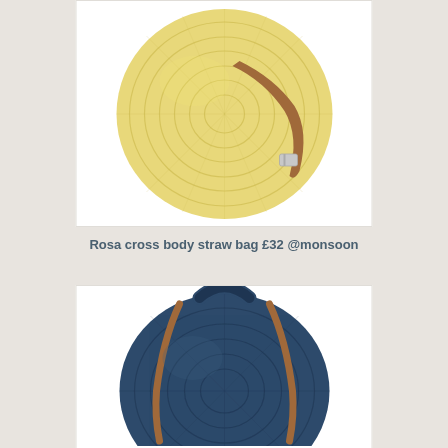[Figure (photo): Round woven straw crossbody bag with a tan leather strap and silver buckle, viewed from above on a white background.]
Rosa cross body straw bag £32 @monsoon
[Figure (photo): Round navy blue woven straw backpack bag with tan leather straps and a loop handle on top, viewed from the front on a white background.]